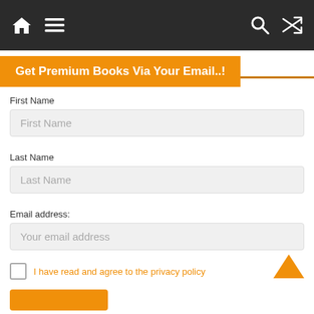[Figure (screenshot): Navigation bar with home icon, hamburger menu icon on left; search and shuffle icons on right, dark background]
Get Premium Books Via Your Email..!
First Name
First Name (placeholder)
Last Name
Last Name (placeholder)
Email address:
Your email address (placeholder)
I have read and agree to the privacy policy